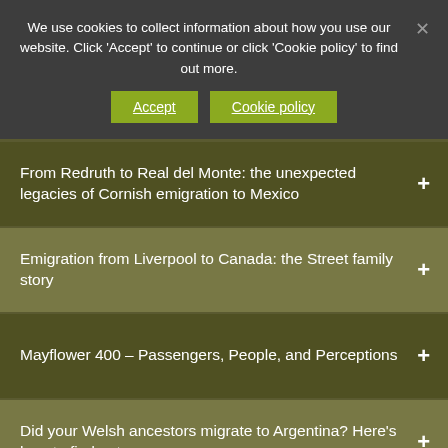We use cookies to collect information about how you use our website. Click 'Accept' to continue or click 'Cookie policy' to find out more.
Accept
Cookie policy
From Redruth to Real del Monte: the unexpected legacies of Cornish emigration to Mexico
Emigration from Liverpool to Canada: the Street family story
Mayflower 400 – Passengers, People, and Perceptions
Did your Welsh ancestors migrate to Argentina? Here's how to find out…
From Antigua to Australia, via Angola, Ghana and Ireland: Scottish and Welsh footballers with overseas family links